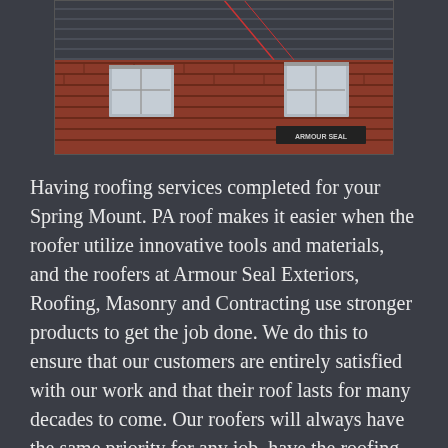[Figure (photo): Photograph of a brick building roofline with dark roofing shingles, two small white-framed windows visible along the upper brick facade, and a small sign reading 'ARMOUR SEAL' at the lower right of the image.]
Having roofing services completed for your Spring Mount. PA roof makes it easier when the roofer utilize innovative tools and materials, and the roofers at Armour Seal Exteriors, Roofing, Masonry and Contracting use stronger products to get the job done. We do this to ensure that our customers are entirely satisfied with our work and that their roof lasts for many decades to come. Our roofers will always have the same priority for any job, have the roofing system looking and performing stronger than ever, and we can do this since we employ skilled